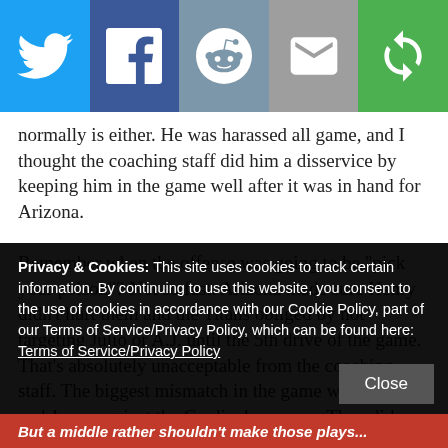[Figure (infographic): Social media share bar with five buttons: Twitter (light blue), Facebook (dark blue), Reddit (blue-grey), Email (grey), and a circular arrow/share icon (green)]
normally is either. He was harassed all game, and I thought the coaching staff did him a disservice by keeping him in the game well after it was in hand for Arizona.

Remember when the offense was going to be "pick your poison"? Not so fast. Arizona made sure Henry didn't hurt them and the Titans obliged by not targeting Julio or A.J. until the 5th drive of the game. That's absolutely unacceptable from the coaching staff. The biggest mismatch in the game was Brown and Jones against the Cardinals corners. They did nothing to test that matchup
Privacy & Cookies: This site uses cookies to track certain information. By continuing to use this website, you consent to the use of cookies in accordance with our Cookie Policy, part of our Terms of Service/Privacy Policy, which can be found here: Terms of Service/Privacy Policy
Close
But a middle rather shouldn't make those plays...